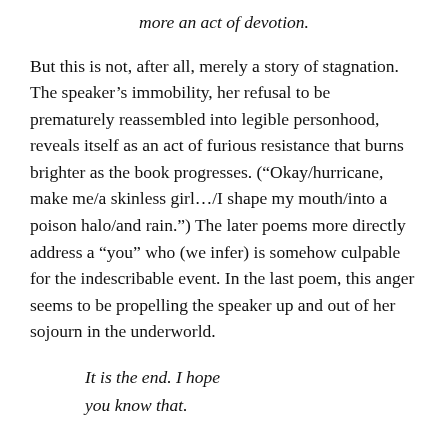more an act of devotion.
But this is not, after all, merely a story of stagnation. The speaker’s immobility, her refusal to be prematurely reassembled into legible personhood, reveals itself as an act of furious resistance that burns brighter as the book progresses. (“Okay/hurricane, make me/a skinless girl…/I shape my mouth/into a poison halo/and rain.”) The later poems more directly address a “you” who (we infer) is somehow culpable for the indescribable event. In the last poem, this anger seems to be propelling the speaker up and out of her sojourn in the underworld.
It is the end. I hope
you know that.